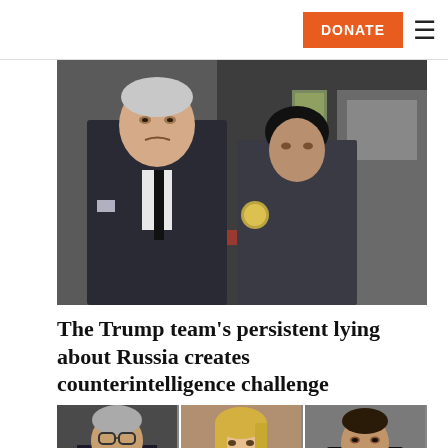DONATE ≡
[Figure (photo): Roger Stone in a pinstripe suit with a security officer behind him, walking outside a courthouse]
The Trump team's persistent lying about Russia creates counterintelligence challenge
[Figure (photo): Three-panel image showing: left - older man with glasses, center - blonde woman (Stormy Daniels), right - man in dark suit (Michael Cohen)]